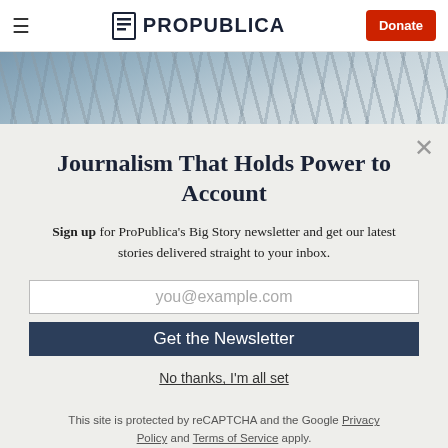≡  ProPublica  Donate
[Figure (photo): Partial photo of suspended chains or scales, architectural/court setting]
Journalism That Holds Power to Account
Sign up for ProPublica's Big Story newsletter and get our latest stories delivered straight to your inbox.
you@example.com
Get the Newsletter
No thanks, I'm all set
This site is protected by reCAPTCHA and the Google Privacy Policy and Terms of Service apply.